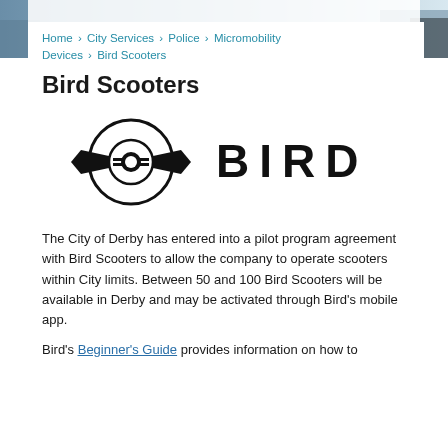[Figure (photo): City background photo banner at the top of the page]
Home › City Services › Police › Micromobility Devices › Bird Scooters
Bird Scooters
[Figure (logo): Bird Scooters company logo — circular wing emblem on left and 'BIRD' wordmark on right in black]
The City of Derby has entered into a pilot program agreement with Bird Scooters to allow the company to operate scooters within City limits. Between 50 and 100 Bird Scooters will be available in Derby and may be activated through Bird's mobile app.
Bird's Beginner's Guide provides information on how to